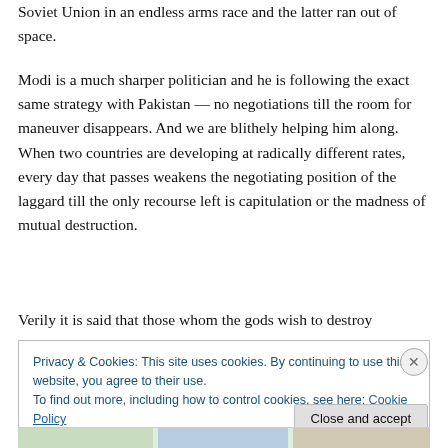Soviet Union in an endless arms race and the latter ran out of space.
Modi is a much sharper politician and he is following the exact same strategy with Pakistan — no negotiations till the room for maneuver disappears. And we are blithely helping him along. When two countries are developing at radically different rates, every day that passes weakens the negotiating position of the laggard till the only recourse left is capitulation or the madness of mutual destruction.
Verily it is said that those whom the gods wish to destroy
Privacy & Cookies: This site uses cookies. By continuing to use this website, you agree to their use.
To find out more, including how to control cookies, see here: Cookie Policy